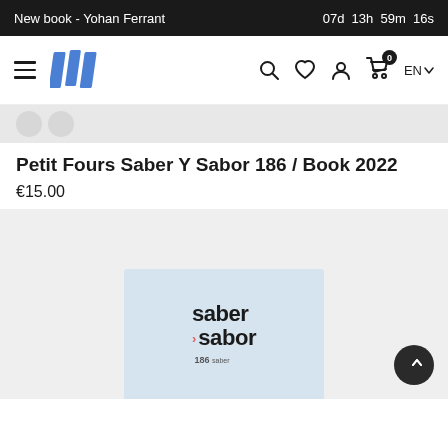New book - Yohan Ferrant | 07d 13h 59m 16s
[Figure (screenshot): Website navigation bar with hamburger menu, logo (three blue diagonal book spines), search icon, heart/wishlist icon, user icon, cart icon with badge '0', and EN language selector]
[Figure (photo): Partial top of a product image strip in light grey]
Petit Fours Saber Y Sabor 186 / Book 2022
€15.00
[Figure (photo): Light grey background product image showing a book with light blue cover. The book cover reads 'saber y sabor' in bold dark letters with a red/pink chevron, and '186' below with small additional text. A circular scroll-to-top button (dark with upward arrows) is in the bottom-right corner.]